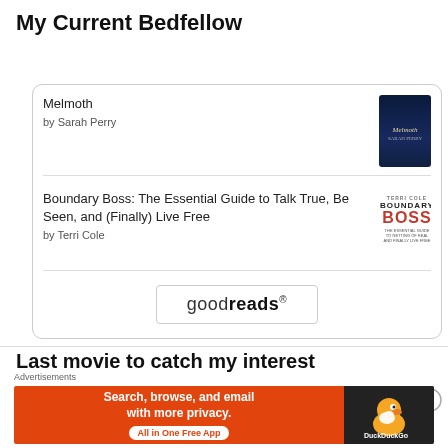My Current Bedfellow
[Figure (screenshot): Goodreads widget card showing two books: 'Melmoth by Sarah Perry' with dark blue book cover, and 'Boundary Boss: The Essential Guide to Talk True, Be Seen, and (Finally) Live Free by Terri Cole' with white/red book cover, plus a goodreads button at the bottom.]
Last movie to catch my interest
[Figure (screenshot): A movie content area partially visible with a blue/dark progress bar strip.]
Advertisements
[Figure (screenshot): DuckDuckGo advertisement banner: 'Search, browse, and email with more privacy. All in One Free App' on orange background with DuckDuckGo logo on dark right panel. Close button (X in circle) top right.]